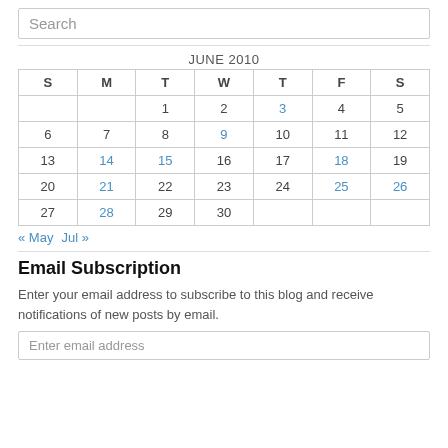Search
| S | M | T | W | T | F | S |
| --- | --- | --- | --- | --- | --- | --- |
|  |  | 1 | 2 | 3 | 4 | 5 |
| 6 | 7 | 8 | 9 | 10 | 11 | 12 |
| 13 | 14 | 15 | 16 | 17 | 18 | 19 |
| 20 | 21 | 22 | 23 | 24 | 25 | 26 |
| 27 | 28 | 29 | 30 |  |  |  |
« May   Jul »
Email Subscription
Enter your email address to subscribe to this blog and receive notifications of new posts by email.
Enter email address